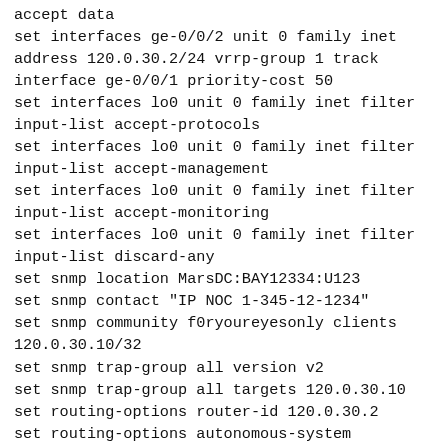accept data
set interfaces ge-0/0/2 unit 0 family inet address 120.0.30.2/24 vrrp-group 1 track interface ge-0/0/1 priority-cost 50
set interfaces lo0 unit 0 family inet filter input-list accept-protocols
set interfaces lo0 unit 0 family inet filter input-list accept-management
set interfaces lo0 unit 0 family inet filter input-list accept-monitoring
set interfaces lo0 unit 0 family inet filter input-list discard-any
set snmp location MarsDC:BAY12334:U123
set snmp contact "IP NOC 1-345-12-1234"
set snmp community f0ryoureyesonly clients 120.0.30.10/32
set snmp trap-group all version v2
set snmp trap-group all targets 120.0.30.10
set routing-options router-id 120.0.30.2
set routing-options autonomous-system